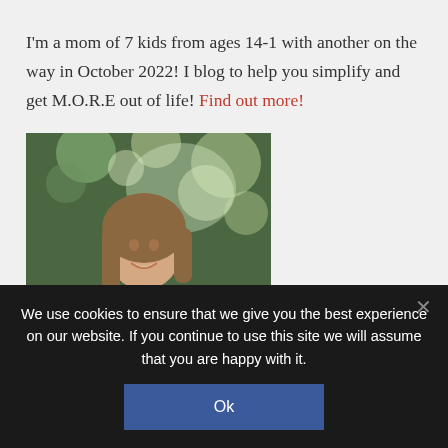I'm a mom of 7 kids from ages 14-1 with another on the way in October 2022! I blog to help you simplify and get M.O.R.E out of life! Find out more!
[Figure (photo): Outdoor portrait photo of a smiling woman with long brown hair, green foliage bokeh background]
We use cookies to ensure that we give you the best experience on our website. If you continue to use this site we will assume that you are happy with it.